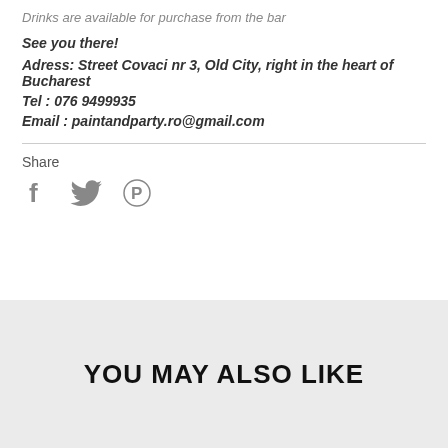Drinks are available for purchase from the bar
See you there!
Adress: Street Covaci nr 3, Old City, right in the heart of Bucharest
Tel : 076 9499935
Email : paintandparty.ro@gmail.com
Share
[Figure (infographic): Social media share icons: Facebook (f), Twitter (bird), Pinterest (P) in grey]
YOU MAY ALSO LIKE